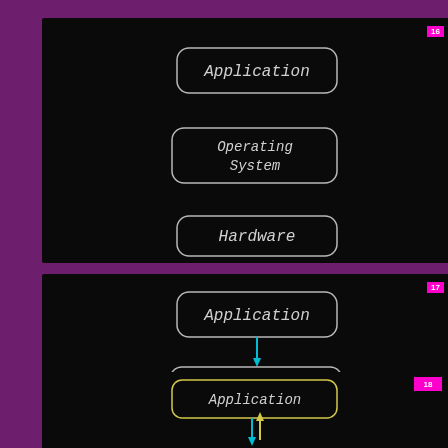[Figure (flowchart): Slide 16: Three stacked rounded rectangles on black background labeled Application, Operating System, Hardware — no connecting arrows]
[Figure (flowchart): Slide 17: Three stacked rounded rectangles on black background labeled Application, Operating System, Hardware — connected with teal downward arrows]
[Figure (flowchart): Slide 18: Three stacked rounded rectangles on black background labeled Application, Operating System — connected with yellow/red arrows, partially visible Hardware box below]